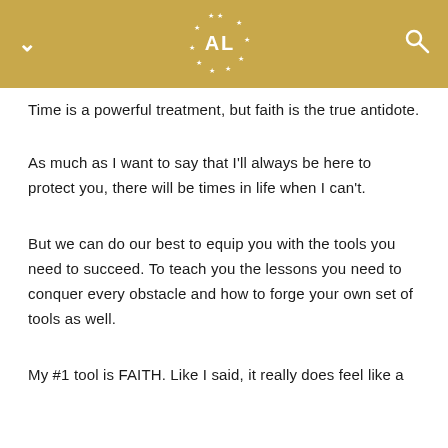AL (logo with stars)
Time is a powerful treatment, but faith is the true antidote.
As much as I want to say that I'll always be here to protect you, there will be times in life when I can't.
But we can do our best to equip you with the tools you need to succeed. To teach you the lessons you need to conquer every obstacle and how to forge your own set of tools as well.
My #1 tool is FAITH. Like I said, it really does feel like a